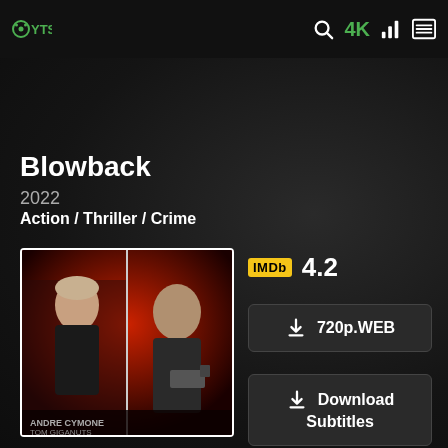YTS 4K
Blowback
2022
Action / Thriller / Crime
[Figure (photo): Movie poster for Blowback (2022) showing two men, one younger with light hair and one older bald man holding a gun, on a red dramatic background]
IMDb 4.2
720p.WEB
Download Subtitles